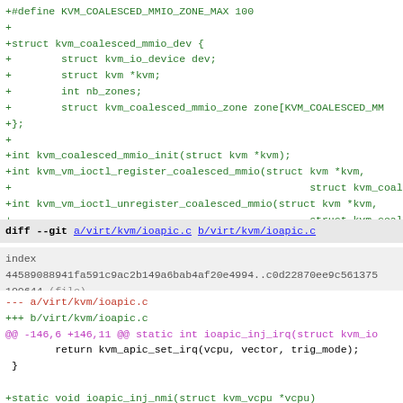[Figure (screenshot): Code diff screenshot showing two sections: first a green added block defining KVM coalesced MMIO structures and function prototypes, then a git diff header for ioapic.c with index info, file markers, hunk header, and added static void ioapic_inj_nmi function.]